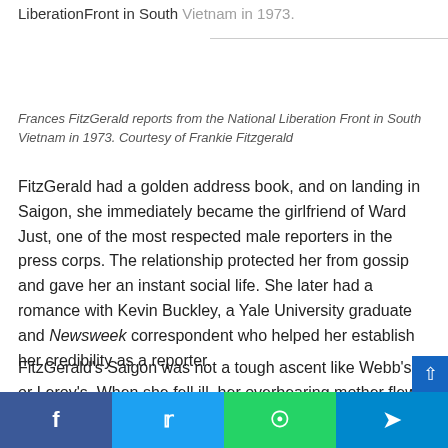LiberationFront in South Vietnam in 1973.
Frances FitzGerald reports from the National Liberation Front in South Vietnam in 1973. Courtesy of Frankie Fitzgerald
FitzGerald had a golden address book, and on landing in Saigon, she immediately became the girlfriend of Ward Just, one of the most respected male reporters in the press corps. The relationship protected her from gossip and gave her an instant social life. She later had a romance with Kevin Buckley, a Yale University graduate and Newsweek correspondent who helped her establish her credibility as a reporter.
FitzGerald's Saigon was not a tough ascent like Webb's or Leroy's. When she fell ill, her overbearing mother flew in and